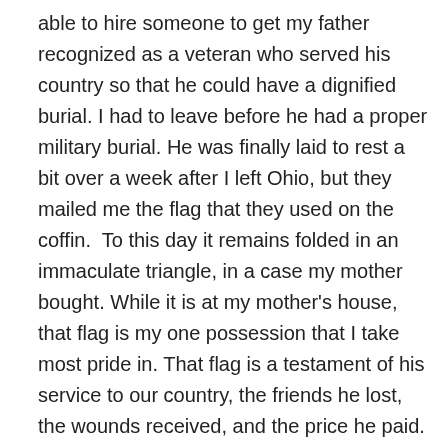able to hire someone to get my father recognized as a veteran who served his country so that he could have a dignified burial. I had to leave before he had a proper military burial. He was finally laid to rest a bit over a week after I left Ohio, but they mailed me the flag that they used on the coffin.  To this day it remains folded in an immaculate triangle, in a case my mother bought. While it is at my mother's house, that flag is my one possession that I take most pride in. That flag is a testament of his service to our country, the friends he lost, the wounds received, and the price he paid. Yes, Vietnam was a senseless war, but it wasn't his choosing. Still he paid a price, and ultimately our family did too. But this post is not about me feeling sorry for my family because of his PTSD, rather it is to point out that as a daughter of a veteran, as the descendant of people who sacrificed so much in this